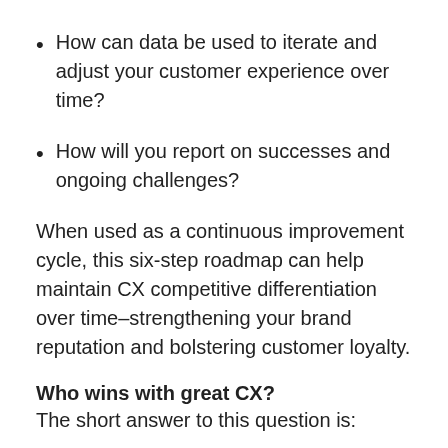How can data be used to iterate and adjust your customer experience over time?
How will you report on successes and ongoing challenges?
When used as a continuous improvement cycle, this six-step roadmap can help maintain CX competitive differentiation over time–strengthening your brand reputation and bolstering customer loyalty.
Who wins with great CX?
The short answer to this question is: